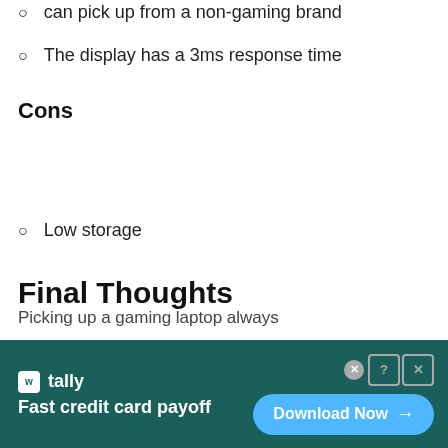can pick up from a non-gaming brand
The display has a 3ms response time
Cons
Low storage
Final Thoughts
Picking up a gaming laptop always
[Figure (infographic): Tally app advertisement banner with dark teal background, Tally logo, text 'Fast credit card payoff', and a 'Download Now' button in light blue]